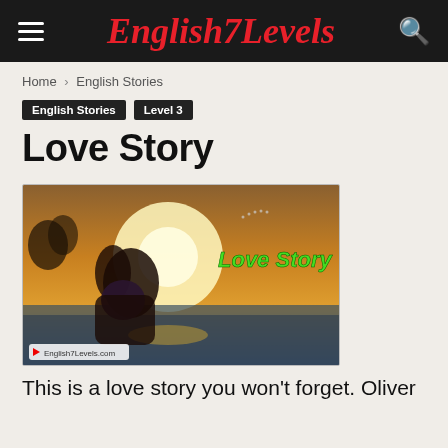English7Levels
Home › English Stories
English Stories  Level 3
Love Story
[Figure (photo): A romantic couple embrace with sunlight in the background, with 'Love Story' text overlay in green and English7Levels.com watermark at bottom left.]
This is a love story you won't forget. Oliver